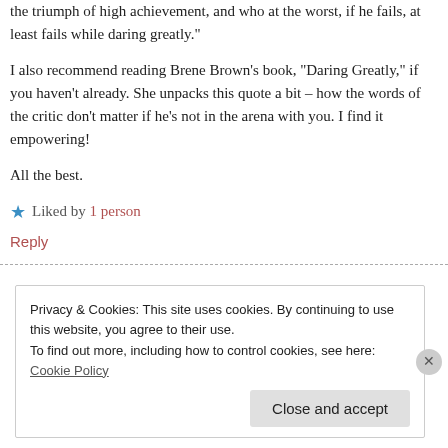the triumph of high achievement, and who at the worst, if he fails, at least fails while daring greatly."
I also recommend reading Brene Brown’s book, “Daring Greatly,” if you haven't already. She unpacks this quote a bit – how the words of the critic don't matter if he's not in the arena with you. I find it empowering!
All the best.
★ Liked by 1 person
Reply
Privacy & Cookies: This site uses cookies. By continuing to use this website, you agree to their use.
To find out more, including how to control cookies, see here: Cookie Policy
Close and accept